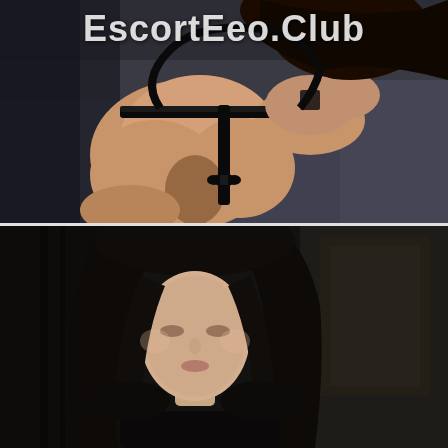[Figure (photo): Top panel: close-up photo of a person wearing black lace lingerie, viewed from behind, kneeling on a dark surface. A website watermark 'EscortEeo.Club' appears at the top in white bold text.]
[Figure (photo): Bottom panel: dark atmospheric photo of a young woman with long dark hair, face slightly blurred/obscured, wearing dark clothing, against a dark background.]
EscortEeo.Club